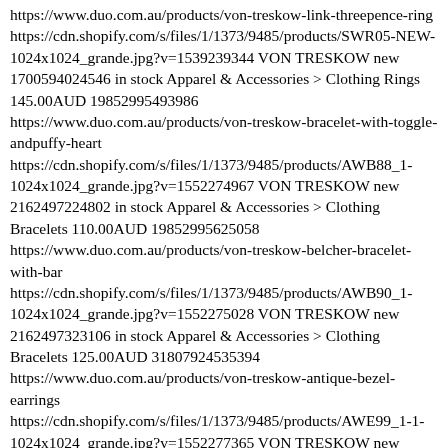https://www.duo.com.au/products/von-treskow-link-threepence-ring https://cdn.shopify.com/s/files/1/1373/9485/products/SWR05-NEW-1024x1024_grande.jpg?v=1539239344 VON TRESKOW new 1700594024546 in stock Apparel & Accessories > Clothing Rings 145.00AUD 19852995493986 https://www.duo.com.au/products/von-treskow-bracelet-with-toggle-andpuffy-heart https://cdn.shopify.com/s/files/1/1373/9485/products/AWB88_1-1024x1024_grande.jpg?v=1552274967 VON TRESKOW new 2162497224802 in stock Apparel & Accessories > Clothing Bracelets 110.00AUD 19852995625058 https://www.duo.com.au/products/von-treskow-belcher-bracelet-with-bar https://cdn.shopify.com/s/files/1/1373/9485/products/AWB90_1-1024x1024_grande.jpg?v=1552275028 VON TRESKOW new 2162497323106 in stock Apparel & Accessories > Clothing Bracelets 125.00AUD 31807924535394 https://www.duo.com.au/products/von-treskow-antique-bezel-earrings https://cdn.shopify.com/s/files/1/1373/9485/products/AWE99_1-1-1024x1024_grande.jpg?v=1552277365 VON TRESKOW new 2162541101154 in stock Apparel & Accessories > Clothing Earrings 65.00AUD 31807924568162 https://www.duo.com.au/products/von-treskow-antique-bezel-earrings https://cdn.shopify.com/s/files/1/1373/9485/products/AWE99_1-1-